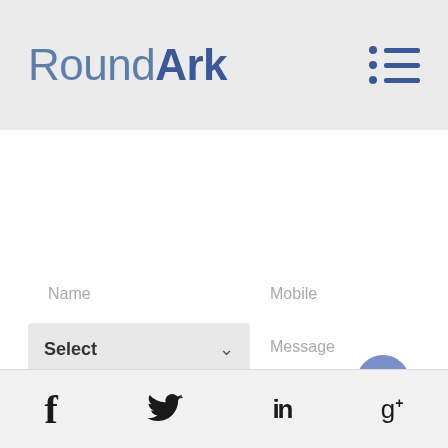[Figure (screenshot): RoundArk website header with logo and hamburger menu icon on gray background]
Name
Mobile
Select
Message
[Figure (other): Upload/scroll-up button (blue circle with upward arrow)]
[Figure (other): Blue submit button bar]
[Figure (other): Social media footer bar with Facebook, Twitter, LinkedIn, Google+ icons]